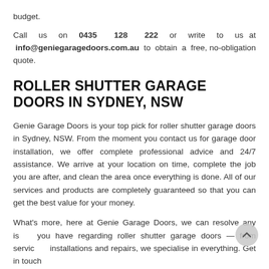budget.
Call us on 0435 128 222 or write to us at info@geniegaragedoors.com.au to obtain a free, no-obligation quote.
ROLLER SHUTTER GARAGE DOORS IN SYDNEY, NSW
Genie Garage Doors is your top pick for roller shutter garage doors in Sydney, NSW. From the moment you contact us for garage door installation, we offer complete professional advice and 24/7 assistance. We arrive at your location on time, complete the job you are after, and clean the area once everything is done. All of our services and products are completely guaranteed so that you can get the best value for your money.
What's more, here at Genie Garage Doors, we can resolve any issues you have regarding roller shutter garage doors — from servicing, installations and repairs, we specialise in everything. Get in touch